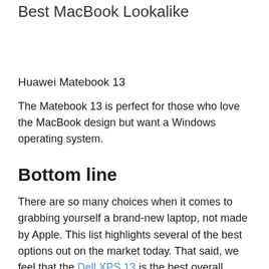Best MacBook Lookalike
Huawei Matebook 13
The Matebook 13 is perfect for those who love the MacBook design but want a Windows operating system.
Bottom line
There are so many choices when it comes to grabbing yourself a brand-new laptop, not made by Apple. This list highlights several of the best options out on the market today. That said, we feel that the Dell XPS 13 is the best overall choice for average consumers who own an